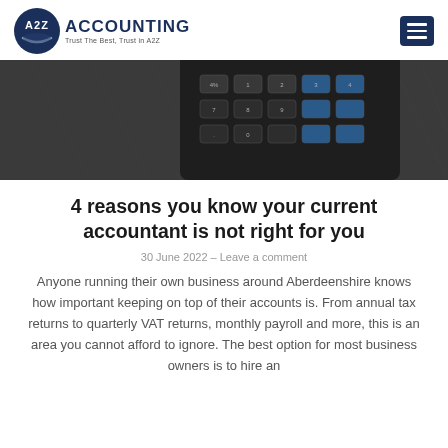A2Z ACCOUNTING — Trust The Best, Trust in A2Z
[Figure (photo): Close-up photo of a dark calculator keypad on a textured surface]
4 reasons you know your current accountant is not right for you
30 June 2022 – Leave a comment
Anyone running their own business around Aberdeenshire knows how important keeping on top of their accounts is. From annual tax returns to quarterly VAT returns, monthly payroll and more, this is an area you cannot afford to ignore. The best option for most business owners is to hire an